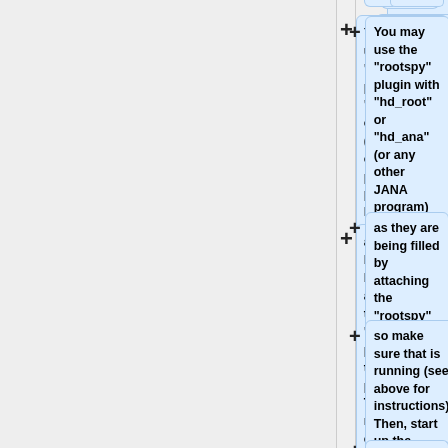[Figure (flowchart): A vertical flowchart with '+' connectors and light blue rounded-rectangle boxes. Three visible boxes: 1) 'You may use the "rootspy" plugin with "hd_root" or "hd_ana" (or any other JANA program) to publish histograms', 2) 'as they are being filled by attaching the "rootspy" plugin to the process. This also requires a cMsg server be running', 3) 'so make sure that is running (see above for instructions). Then, start up the program like this:'. A fourth partial box is visible at the bottom.]